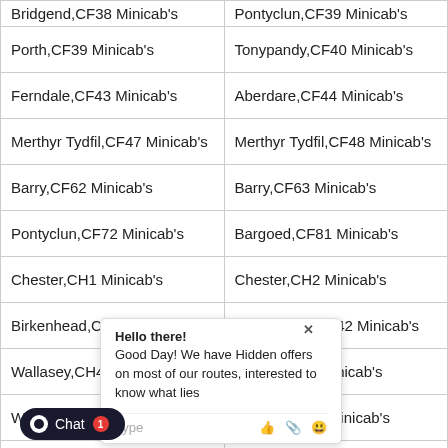| Col1 | Col2 |
| --- | --- |
| Bridgend,CF38 Minicab's | Pontyclun,CF39 Minicab's |
| Porth,CF39 Minicab's | Tonypandy,CF40 Minicab's |
| Ferndale,CF43 Minicab's | Aberdare,CF44 Minicab's |
| Merthyr Tydfil,CF47 Minicab's | Merthyr Tydfil,CF48 Minicab's |
| Barry,CF62 Minicab's | Barry,CF63 Minicab's |
| Pontyclun,CF72 Minicab's | Bargoed,CF81 Minicab's |
| Chester,CH1 Minicab's | Chester,CH2 Minicab's |
| Birkenhead,CH41 Minicab's | Birkenhead,CH42 Minicab's |
| Wallasey,CH44 Minicab's | Wirral,CH46 Minicab's |
| Wirral,CH49 Minicab's | Deeside,CH5 Minicab's |
| Wirral,CH61 Minicab's | Wirral,CH62 Minicab's |
| Ellesmere Port,CH65 Minicab's | Ellesmere Port,CH66 Minicab's |
| Southminster,CM0 Minicab's | Chelmsford,CM1 Minicab's |